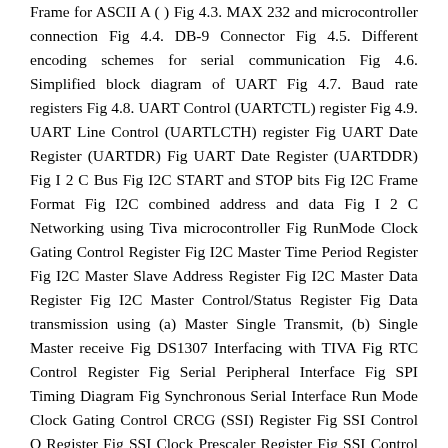Frame for ASCII A ( ) Fig 4.3. MAX 232 and microcontroller connection Fig 4.4. DB-9 Connector Fig 4.5. Different encoding schemes for serial communication Fig 4.6. Simplified block diagram of UART Fig 4.7. Baud rate registers Fig 4.8. UART Control (UARTCTL) register Fig 4.9. UART Line Control (UARTLCTH) register Fig UART Date Register (UARTDR) Fig UART Date Register (UARTDDR) Fig I 2 C Bus Fig I2C START and STOP bits Fig I2C Frame Format Fig I2C combined address and data Fig I 2 C Networking using Tiva microcontroller Fig RunMode Clock Gating Control Register Fig I2C Master Time Period Register Fig I2C Master Slave Address Register Fig I2C Master Data Register Fig I2C Master Control/Status Register Fig Data transmission using (a) Master Single Transmit, (b) Single Master receive Fig DS1307 Interfacing with TIVA Fig RTC Control Register Fig Serial Peripheral Interface Fig SPI Timing Diagram Fig Synchronous Serial Interface Run Mode Clock Gating Control CRCG (SSI) Register Fig SSI Control O Register Fig SSI Clock Prescaler Register Fig SSI Control 1 Register Fig SSI Data Register Fig SSI Status Register Fig 4.35 Booster Pack Pinout Standard Fig Flowchart: Interfacing TIVA with Sensor Hub